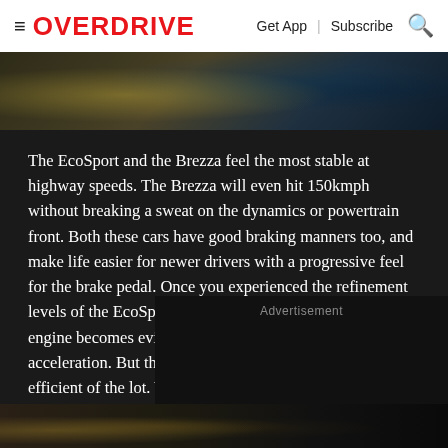OVERDRIVE | Get App | Subscribe
[Figure (photo): Partial view of engine/mechanical components, top image strip]
The EcoSport and the Brezza feel the most stable at highway speeds. The Brezza will even hit 150kmph without breaking a sweat on the dynamics or powertrain front. Both these cars have good braking manners too, and make life easier for newer drivers with a progressive feel for the brake pedal. Once you experienced the refinement levels of the EcoSport's engine, the age of the Brezza's 1.3l engine becomes evident with its gravely note and noisy acceleration. But this old workhorse is still the most fuel efficient of the lot. We hear that a new, indigenous 1.5l diesel is likely to debut in the Brezza with its ory for and
[Figure (photo): Bottom image strip showing cars]